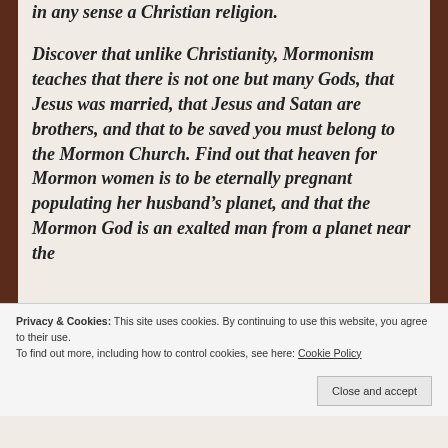in any sense a Christian religion. Discover that unlike Christianity, Mormonism teaches that there is not one but many Gods, that Jesus was married, that Jesus and Satan are brothers, and that to be saved you must belong to the Mormon Church. Find out that heaven for Mormon women is to be eternally pregnant populating her husband's planet, and that the Mormon God is an exalted man from a planet near the
Privacy & Cookies: This site uses cookies. By continuing to use this website, you agree to their use.
To find out more, including how to control cookies, see here: Cookie Policy
Close and accept